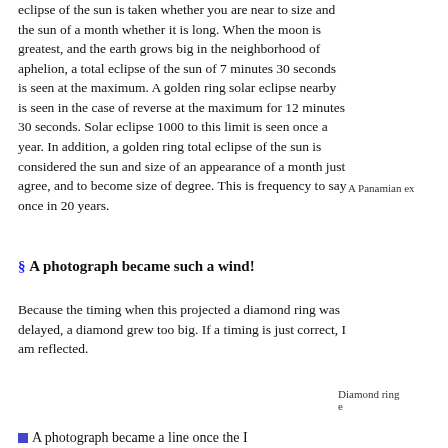eclipse of the sun is taken whether you are near to size and the sun of a month whether it is long. When the moon is greatest, and the earth grows big in the neighborhood of aphelion, a total eclipse of the sun of 7 minutes 30 seconds is seen at the maximum. A golden ring solar eclipse nearby is seen in the case of reverse at the maximum for 12 minutes 30 seconds. Solar eclipse 1000 to this limit is seen once a year. In addition, a golden ring total eclipse of the sun is considered the sun and size of an appearance of a month just agree, and to become size of degree. This is frequency to say once in 20 years.
A Panamian ex
§ A photograph became such a wind!
Because the timing when this projected a diamond ring was delayed, a diamond grew too big. If a timing is just correct, I am reflected.
Diamond ring e
A photograph became a line once the I